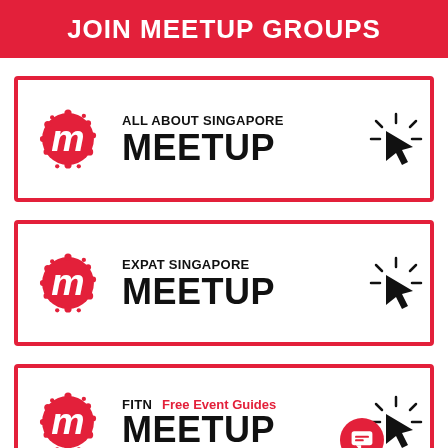JOIN MEETUP GROUPS
[Figure (logo): All About Singapore Meetup banner with Meetup logo, text 'ALL ABOUT SINGAPORE MEETUP', and click cursor icon]
[Figure (logo): Expat Singapore Meetup banner with Meetup logo, text 'EXPAT SINGAPORE MEETUP', and click cursor icon]
[Figure (logo): FITN Meetup banner with Meetup logo, text 'FITN Free Event Guides MEETUP', and click cursor icon with chat bubble overlay]